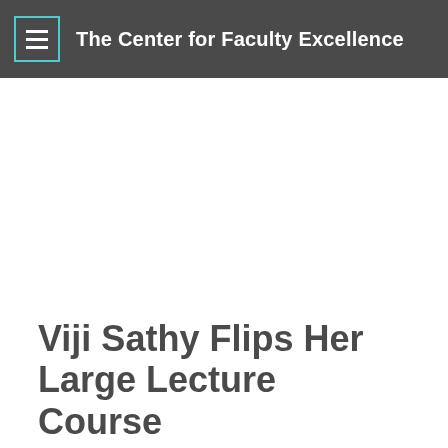The Center for Faculty Excellence
Viji Sathy Flips Her Large Lecture Course